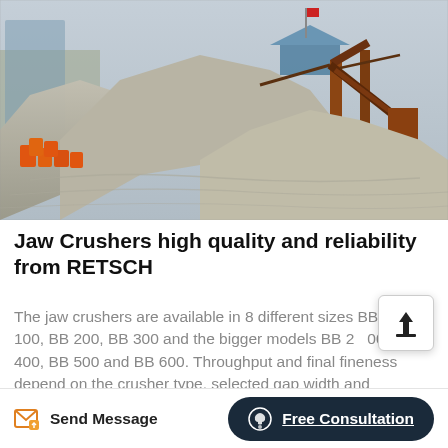[Figure (photo): Aerial/ground view of a quarry/mining site with large piles of crushed stone/sand, orange barrels on the left, and heavy machinery/conveyor equipment on the right under a blue shed roof.]
Jaw Crushers high quality and reliability from RETSCH
The jaw crushers are available in 8 different sizes BB 50, BB 100, BB 200, BB 300 and the bigger models BB 250, BB 400, BB 500 and BB 600. Throughput and final fineness depend on the crusher type, selected gap width and hardness/composition of the sample material. For choosing...